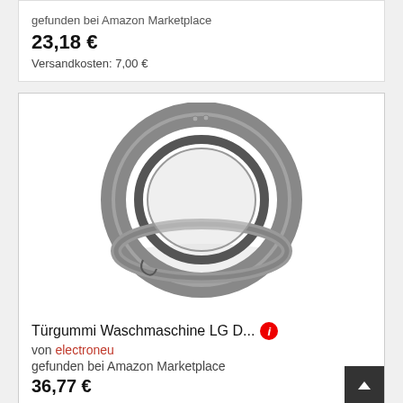gefunden bei Amazon Marketplace
23,18 €
Versandkosten: 7,00 €
[Figure (photo): A gray rubber door gasket/seal for a washing machine (LG model), photographed on a white background. The gasket is a circular ring shape with multiple lips/ridges visible.]
Türgummi Waschmaschine LG D...
von electroneu
gefunden bei Amazon Marketplace
36,77 €